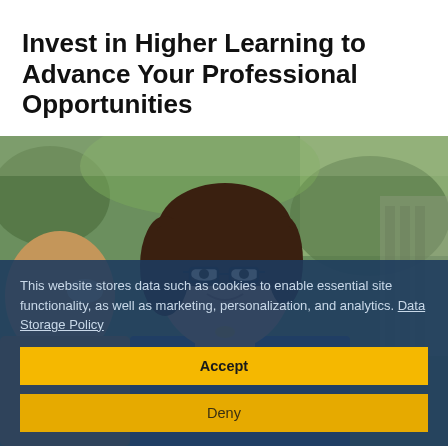Invest in Higher Learning to Advance Your Professional Opportunities
[Figure (photo): A smiling woman with dark hair wearing glasses and a blue blazer, photographed outdoors in a garden setting, shown from the chest up, with another person's shoulder visible in the foreground and green foliage in the background.]
This website stores data such as cookies to enable essential site functionality, as well as marketing, personalization, and analytics. Data Storage Policy